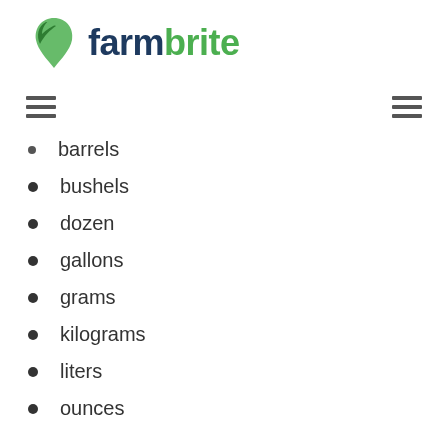farmbrite
barrels
bushels
dozen
gallons
grams
kilograms
liters
ounces
pints
pounds
quarts